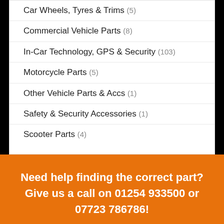Car Wheels, Tyres & Trims (5)
Commercial Vehicle Parts (8)
In-Car Technology, GPS & Security (103)
Motorcycle Parts (5)
Other Vehicle Parts & Accs (1)
Safety & Security Accessories (1)
Scooter Parts (4)
Need help finding the correct part? Give us a call on 01254 933500 or 07723 786786!